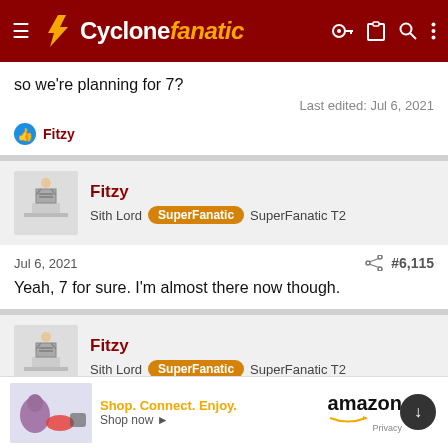Cyclonefanatic
so we're planning for 7?
Last edited: Jul 6, 2021
Fitzy
Fitzy
Sith Lord  SuperFanatic  SuperFanatic T2
Jul 6, 2021  #6,115
Yeah, 7 for sure. I'm almost there now though.
Fitzy
Sith Lord  SuperFanatic  SuperFanatic T2
Jul 6, 202
[Figure (infographic): Amazon advertisement banner: Shop. Connect. Enjoy. Shop now with Amazon logo]